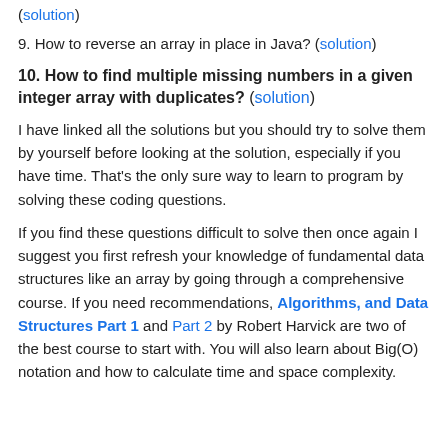(solution)
9. How to reverse an array in place in Java? (solution)
10. How to find multiple missing numbers in a given integer array with duplicates? (solution)
I have linked all the solutions but you should try to solve them by yourself before looking at the solution, especially if you have time. That's the only sure way to learn to program by solving these coding questions.
If you find these questions difficult to solve then once again I suggest you first refresh your knowledge of fundamental data structures like an array by going through a comprehensive course. If you need recommendations, Algorithms, and Data Structures Part 1 and Part 2 by Robert Harvick are two of the best course to start with. You will also learn about Big(O) notation and how to calculate time and space complexity.